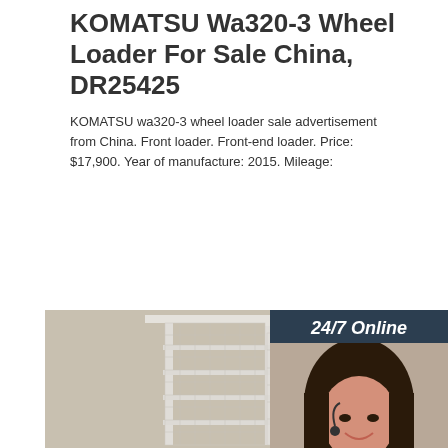KOMATSU Wa320-3 Wheel Loader For Sale China, DR25425
KOMATSU wa320-3 wheel loader sale advertisement from China. Front loader. Front-end loader. Price: $17,900. Year of manufacture: 2015. Mileage:
[Figure (photo): Orange 'Get Price' button]
[Figure (photo): Sidebar with '24/7 Online' text, a woman wearing a headset smiling, 'Click here for free chat!' text, and an orange 'QUOTATION' button on a dark navy background]
[Figure (photo): Product photo showing a white metal wire shelving rack unit on a beige/grey background]